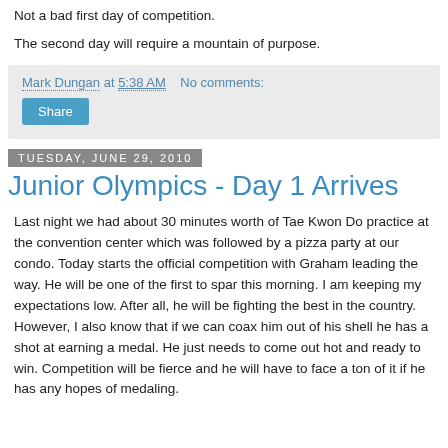Not a bad first day of competition.
The second day will require a mountain of purpose.
Mark Dungan at 5:38 AM   No comments:
Share
Tuesday, June 29, 2010
Junior Olympics - Day 1 Arrives
Last night we had about 30 minutes worth of Tae Kwon Do practice at the convention center which was followed by a pizza party at our condo. Today starts the official competition with Graham leading the way. He will be one of the first to spar this morning. I am keeping my expectations low. After all, he will be fighting the best in the country. However, I also know that if we can coax him out of his shell he has a shot at earning a medal. He just needs to come out hot and ready to win. Competition will be fierce and he will have to face a ton of it if he has any hopes of medaling.